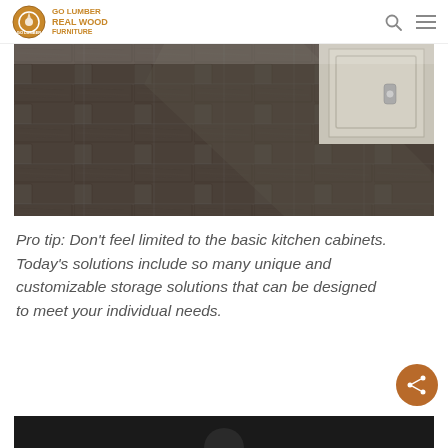Go Lumber Real Wood Furniture
[Figure (photo): Close-up photo of a kitchen floor with dark wood-grain patterned tiles in a herringbone/chevron layout, with white cabinet base visible in the background]
Pro tip: Don’t feel limited to the basic kitchen cabinets. Today’s solutions include so many unique and customizable storage solutions that can be designed to meet your individual needs.
[Figure (photo): Bottom portion of another image, dark background, partially visible]